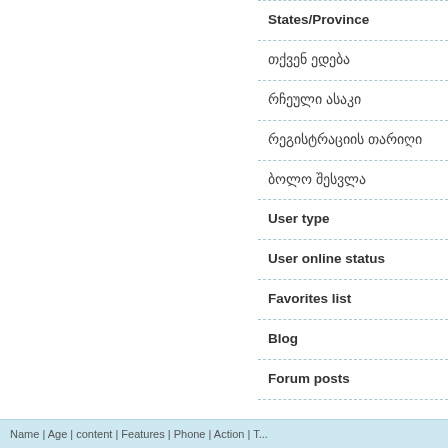States/Province
თქვენ ედება
რჩეული ასაკი
რეგისტრაციის თარიღი
ბოლო შესვლა
User type
User online status
Favorites list
Blog
Forum posts
Rate this profile
(1 - Worse, 10 - Better)
No comments available.
Name | Age | content | Features | Phone | Action | T...